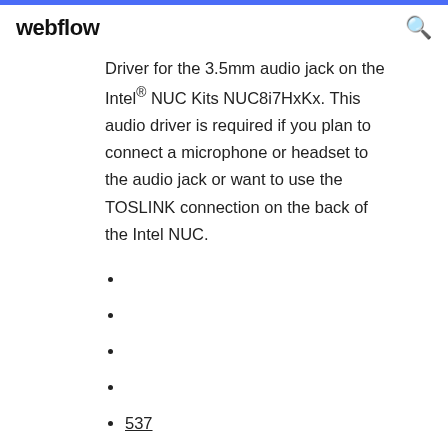webflow
Driver for the 3.5mm audio jack on the Intel® NUC Kits NUC8i7HxKx. This audio driver is required if you plan to connect a microphone or headset to the audio jack or want to use the TOSLINK connection on the back of the Intel NUC.
537
432